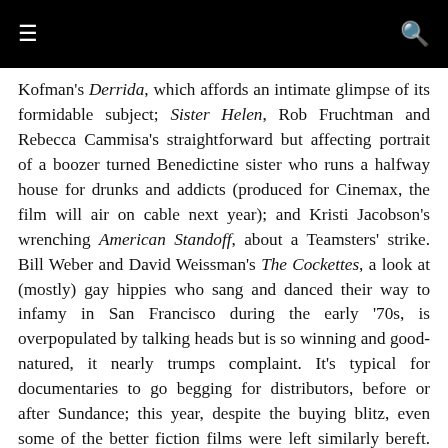≡  🔍
Kofman's Derrida, which affords an intimate glimpse of its formidable subject; Sister Helen, Rob Fruchtman and Rebecca Cammisa's straightforward but affecting portrait of a boozer turned Benedictine sister who runs a halfway house for drunks and addicts (produced for Cinemax, the film will air on cable next year); and Kristi Jacobson's wrenching American Standoff, about a Teamsters' strike. Bill Weber and David Weissman's The Cockettes, a look at (mostly) gay hippies who sang and danced their way to infamy in San Francisco during the early '70s, is overpopulated by talking heads but is so winning and good-natured, it nearly trumps complaint. It's typical for documentaries to go begging for distributors, before or after Sundance; this year, despite the buying blitz, even some of the better fiction films were left similarly bereft. One that deserves a wider audience is Steven Shainberg's Secretary, a charmingly idiosyncratic love story, written by Erin Cressida Wilson and based on a Mary Gaitskill novella, about a female masochist and the male sadist for whom she types, then kneels. Maggie Gyllenhaal, who appeared with her brother Jake in Donnie Darko, plays the woman who discovers the